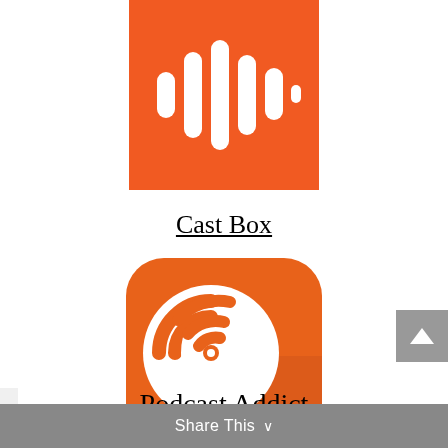[Figure (logo): CastBox app icon: orange square with white audio waveform bars]
Cast Box
[Figure (logo): Podcast Addict app icon: rounded square orange background with white stylized head/headphone P logo with radio signal arcs]
Podcast Addict
Share This